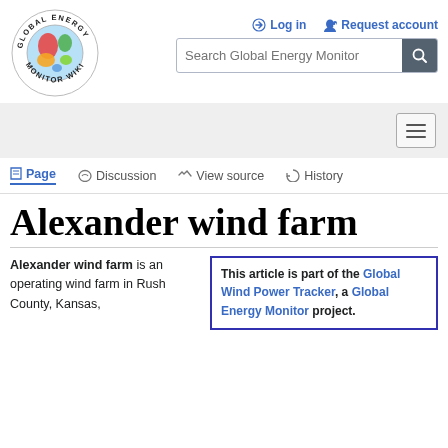[Figure (logo): Global Energy Monitor Wiki circular logo with globe and text]
Log in  Request account  Search Global Energy Monitor
Alexander wind farm
Alexander wind farm is an operating wind farm in Rush County, Kansas,
This article is part of the Global Wind Power Tracker, a Global Energy Monitor project.